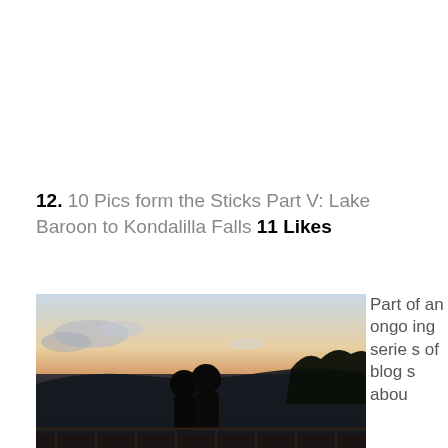12. 10 Pics form the Sticks Part V: Lake Baroon to Kondalilla Falls 11 Likes
[Figure (photo): Two silhouetted figures (couple) standing close together on a lookout/deck at dusk/sunset, with a wide landscape view of distant hills, dramatic clouds, and a warm orange-pink sky in the background.]
Part of an ongoing series of blogs abou